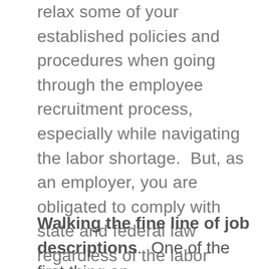relax some of your established policies and procedures when going through the employee recruitment process, especially while navigating the labor shortage.  But, as an employer, you are obligated to comply with state and federal law regardless of the labor climate.  Below we review a few important concepts to help refresh employers of their obligations under Ohio and federal law when they engage in the recruitment process.
Walking the fine line of job descriptions.  One of the first thing an